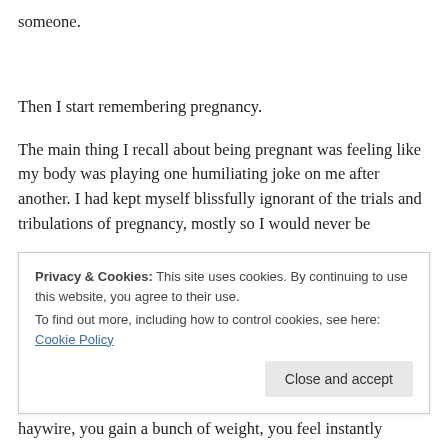someone.
Then I start remembering pregnancy.
The main thing I recall about being pregnant was feeling like my body was playing one humiliating joke on me after another. I had kept myself blissfully ignorant of the trials and tribulations of pregnancy, mostly so I would never be
Privacy & Cookies: This site uses cookies. By continuing to use this website, you agree to their use. To find out more, including how to control cookies, see here: Cookie Policy
haywire, you gain a bunch of weight, you feel instantly